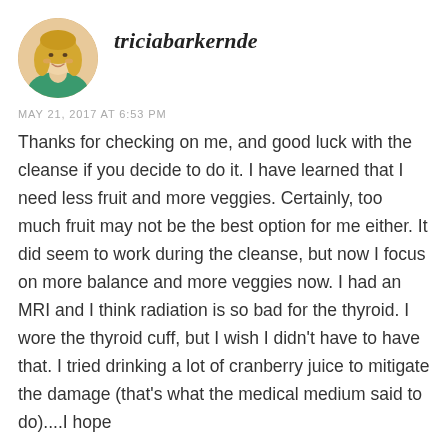[Figure (photo): Circular avatar photo of a blonde woman in a green top]
triciabarkernde
MAY 21, 2017 AT 6:53 PM
Thanks for checking on me, and good luck with the cleanse if you decide to do it. I have learned that I need less fruit and more veggies. Certainly, too much fruit may not be the best option for me either. It did seem to work during the cleanse, but now I focus on more balance and more veggies now. I had an MRI and I think radiation is so bad for the thyroid. I wore the thyroid cuff, but I wish I didn't have to have that. I tried drinking a lot of cranberry juice to mitigate the damage (that's what the medical medium said to do)....I hope